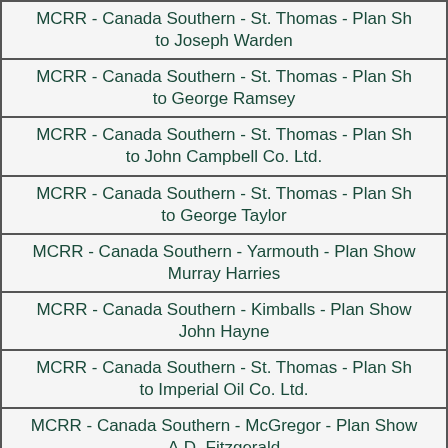| MCRR - Canada Southern - St. Thomas - Plan Sh... to Joseph Warden |
| MCRR - Canada Southern - St. Thomas - Plan Sh... to George Ramsey |
| MCRR - Canada Southern - St. Thomas - Plan Sh... to John Campbell Co. Ltd. |
| MCRR - Canada Southern - St. Thomas - Plan Sh... to George Taylor |
| MCRR - Canada Southern - Yarmouth - Plan Show... Murray Harries |
| MCRR - Canada Southern - Kimballs - Plan Show... John Hayne |
| MCRR - Canada Southern - St. Thomas - Plan Sh... to Imperial Oil Co. Ltd. |
| MCRR - Canada Southern - McGregor - Plan Show... A.D. Fitzgerald |
| MCRR - Canada Southern - Air-Line-Crossing - P... Leased to George Nichols |
| MCRR - Canada Southern - St. Thomas - Plan Sh... |